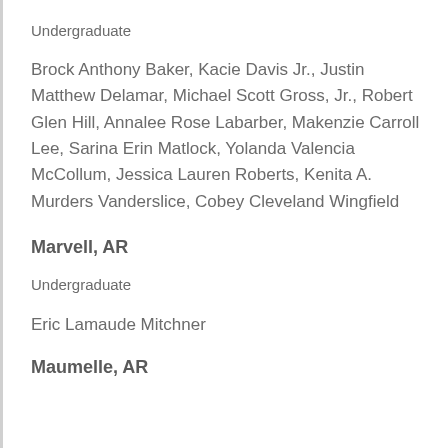Undergraduate
Brock Anthony Baker, Kacie Davis Jr., Justin Matthew Delamar, Michael Scott Gross, Jr., Robert Glen Hill, Annalee Rose Labarber, Makenzie Carroll Lee, Sarina Erin Matlock, Yolanda Valencia McCollum, Jessica Lauren Roberts, Kenita A. Murders Vanderslice, Cobey Cleveland Wingfield
Marvell, AR
Undergraduate
Eric Lamaude Mitchner
Maumelle, AR